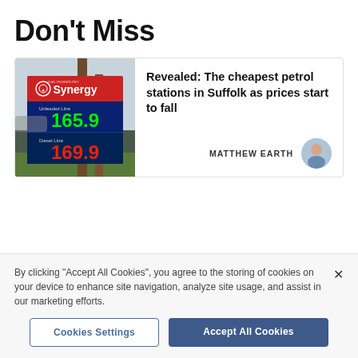Don't Miss
[Figure (photo): Esso Synergy fuel price sign showing Unleaded Litre 165.9 and Diesel Litre 169.9 on a blue digital display board outdoors]
Revealed: The cheapest petrol stations in Suffolk as prices start to fall
MATTHEW EARTH
By clicking "Accept All Cookies", you agree to the storing of cookies on your device to enhance site navigation, analyze site usage, and assist in our marketing efforts.
Cookies Settings
Accept All Cookies